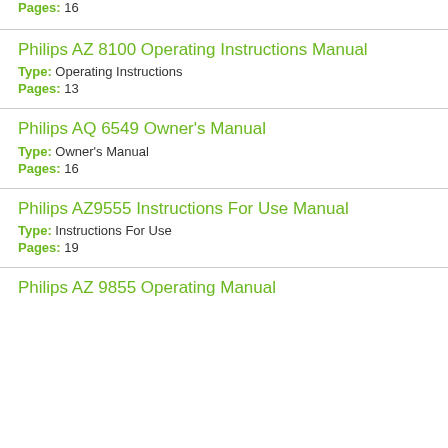Pages: 16
Philips AZ 8100 Operating Instructions Manual
Type: Operating Instructions
Pages: 13
Philips AQ 6549 Owner's Manual
Type: Owner's Manual
Pages: 16
Philips AZ9555 Instructions For Use Manual
Type: Instructions For Use
Pages: 19
Philips AZ 9855 Operating Manual